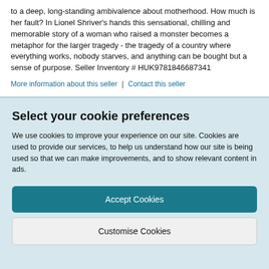to a deep, long-standing ambivalence about motherhood. How much is her fault? In Lionel Shriver's hands this sensational, chilling and memorable story of a woman who raised a monster becomes a metaphor for the larger tragedy - the tragedy of a country where everything works, nobody starves, and anything can be bought but a sense of purpose. Seller Inventory # HUK9781846687341
More information about this seller | Contact this seller
Select your cookie preferences
We use cookies to improve your experience on our site. Cookies are used to provide our services, to help us understand how our site is being used so that we can make improvements, and to show relevant content in ads.
Accept Cookies
Customise Cookies